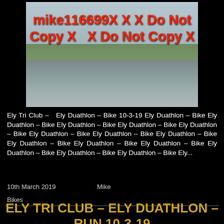[Figure (photo): Two cyclists riding on a wet road in rainy weather, with flat green fields in the background. A red watermark text overlay reads: mike116699X X X Do Not Copy X  X Do Not Copy X]
Ely Tri Club –   Ely Duathlon – Bike 10-3-19 Ely Duathlon – Bike Ely Duathlon – Bike Ely Duathlon – Bike Ely Duathlon – Bike Ely Duathlon – Bike Ely Duathlon – Bike Ely Duathlon – Bike Ely Duathlon – Bike Ely Duathlon – Bike Ely Duathlon – Bike Ely Duathlon – Bike Ely Duathlon – Bike Ely Duathlon – Bike Ely Duathlon – Bike Ely...
10th March 2019        Mike
Bikes
ELY TRI CLUB – ELY DUATHLON – RUN 10-3-19